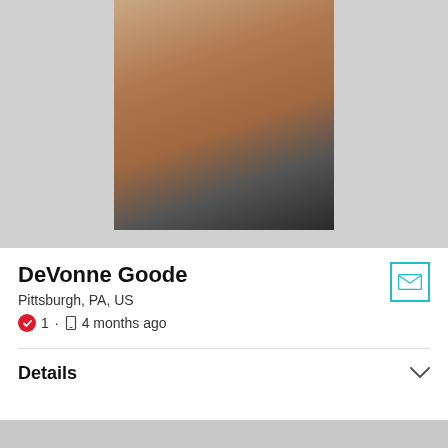[Figure (photo): Profile photo of a person partially covered by dark fabric, against a light gray background]
DeVonne Goode
Pittsburgh, PA, US
1 · 4 months ago
Details